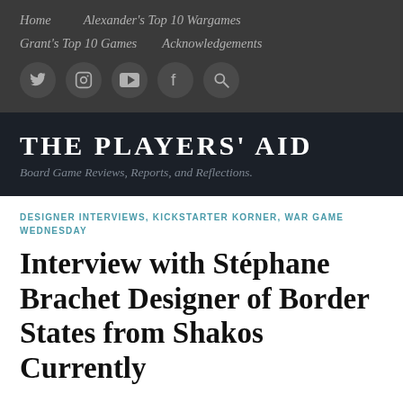Home   Alexander's Top 10 Wargames   Grant's Top 10 Games   Acknowledgements
[Figure (screenshot): Social media icon buttons: Twitter, Instagram, YouTube, Facebook, Search]
THE PLAYERS' AID
Board Game Reviews, Reports, and Reflections.
DESIGNER INTERVIEWS, KICKSTARTER KORNER, WAR GAME WEDNESDAY
Interview with Stéphane Brachet Designer of Border States from Shakos Currently